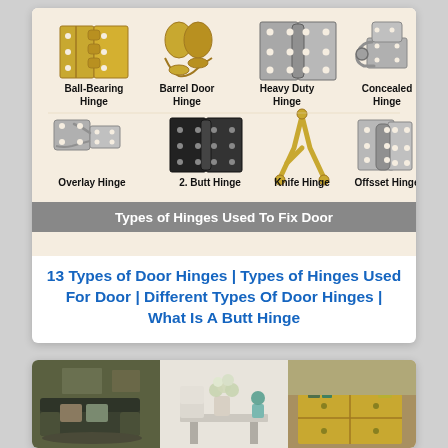[Figure (illustration): Diagram showing 8 types of door hinges on a beige background: Ball-Bearing Hinge, Barrel Door Hinge, Heavy Duty Hinge, Concealed Hinge (top row); Overlay Hinge, 2. Butt Hinge, Knife Hinge, Offsset Hinge (bottom row). Bottom banner reads: Types of Hinges Used To Fix Door]
13 Types of Door Hinges | Types of Hinges Used For Door | Different Types Of Door Hinges | What Is A Butt Hinge
[Figure (photo): Three interior room photos showing living/dining spaces, partially visible at the bottom of the page.]